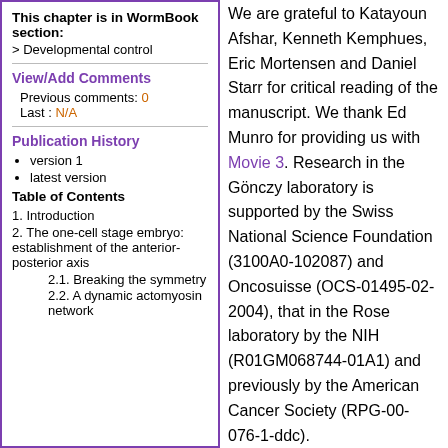This chapter is in WormBook section:
> Developmental control
View/Add Comments
Previous comments: 0
Last : N/A
Publication History
version 1
latest version
Table of Contents
1. Introduction
2. The one-cell stage embryo: establishment of the anterior-posterior axis
2.1. Breaking the symmetry
2.2. A dynamic actomyosin network
We are grateful to Katayoun Afshar, Kenneth Kemphues, Eric Mortensen and Daniel Starr for critical reading of the manuscript. We thank Ed Munro for providing us with Movie 3. Research in the Gönczy laboratory is supported by the Swiss National Science Foundation (3100A0-102087) and Oncosuisse (OCS-01495-02-2004), that in the Rose laboratory by the NIH (R01GM068744-01A1) and previously by the American Cancer Society (RPG-00-076-1-ddc).
8. References
Afshar, K., Willard, F.S., Colombo, K., Johnston, C.A.,